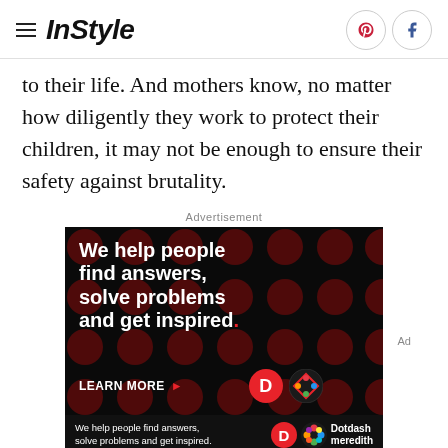InStyle
to their life. And mothers know, no matter how diligently they work to protect their children, it may not be enough to ensure their safety against brutality.
Advertisement
[Figure (infographic): Advertisement banner with black background and dark red polka dots pattern. Text reads: 'We help people find answers, solve problems and get inspired.' with a red period. Below: 'LEARN MORE >' with Dotdash and Meredith logos. Bottom bar repeats text with Dotdash Meredith branding.]